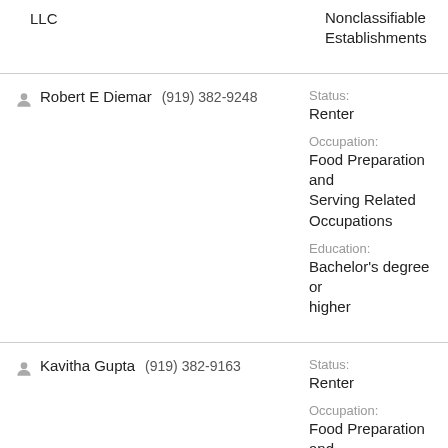LLC
Nonclassifiable Establishments
Robert E Diemar  (919) 382-9248
Status: Renter
Occupation: Food Preparation and Serving Related Occupations
Education: Bachelor's degree or higher
Kavitha Gupta  (919) 382-9163
Status: Renter
Occupation: Food Preparation and Serving Related Occupations
Education: